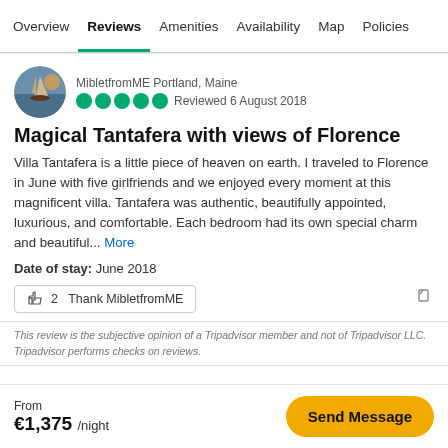Overview | Reviews | Amenities | Availability | Map | Policies
MibletfromME Portland, Maine — Reviewed 6 August 2018 — 4 green circles rating
Magical Tantafera with views of Florence
Villa Tantafera is a little piece of heaven on earth. I traveled to Florence in June with five girlfriends and we enjoyed every moment at this magnificent villa. Tantafera was authentic, beautifully appointed, luxurious, and comfortable. Each bedroom had its own special charm and beautiful... More
Date of stay: June 2018
👍 2  Thank MibletfromME
This review is the subjective opinion of a Tripadvisor member and not of Tripadvisor LLC. Tripadvisor performs checks on reviews.
From €1,375 /night   Send Message